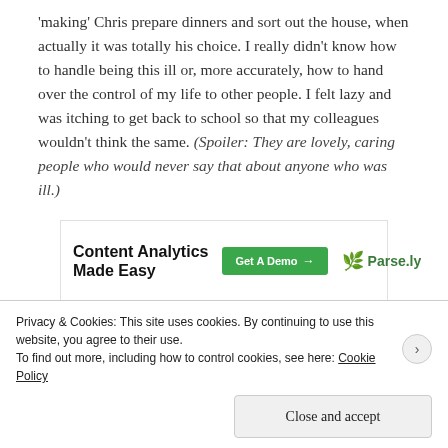'making' Chris prepare dinners and sort out the house, when actually it was totally his choice. I really didn't know how to handle being this ill or, more accurately, how to hand over the control of my life to other people. I felt lazy and was itching to get back to school so that my colleagues wouldn't think the same. (Spoiler: They are lovely, caring people who would never say that about anyone who was ill.)
[Figure (infographic): Parse.ly advertisement: 'Content Analytics Made Easy' with a green 'Get A Demo →' button and the Parse.ly logo with a leaf icon.]
So why all the worry? Why did I find it so hard just to rest
Privacy & Cookies: This site uses cookies. By continuing to use this website, you agree to their use. To find out more, including how to control cookies, see here: Cookie Policy